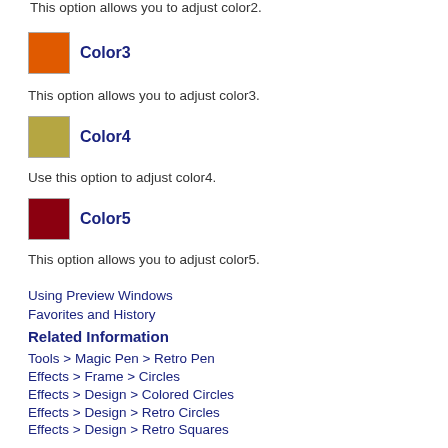This option allows you to adjust color2.
Color3
This option allows you to adjust color3.
Color4
Use this option to adjust color4.
Color5
This option allows you to adjust color5.
Using Preview Windows
Favorites and History
Related Information
Tools > Magic Pen > Retro Pen
Effects > Frame > Circles
Effects > Design > Colored Circles
Effects > Design > Retro Circles
Effects > Design > Retro Squares
Effects > Design > Retro Pop Circles (2)
Effects > Design > Retro Pop Squares
Effects > Design > Circles
Search the Internet